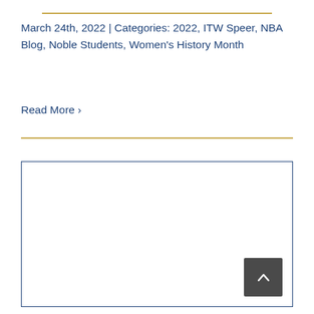March 24th, 2022 | Categories: 2022, ITW Speer, NBA Blog, Noble Students, Women's History Month
Read More ›
[Figure (other): Bordered white image placeholder box with a back-to-top button (dark gray square with upward chevron) in the lower right corner]